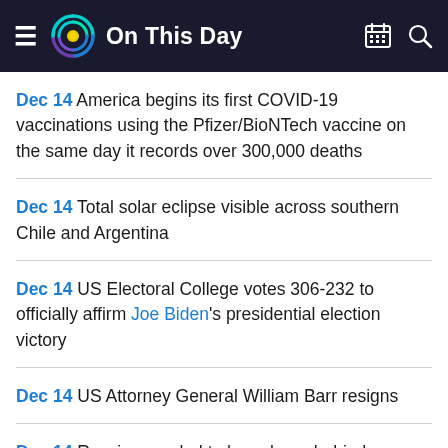On This Day
Dec 14 America begins its first COVID-19 vaccinations using the Pfizer/BioNTech vaccine on the same day it records over 300,000 deaths
Dec 14 Total solar eclipse visible across southern Chile and Argentina
Dec 14 US Electoral College votes 306-232 to officially affirm Joe Biden's presidential election victory
Dec 14 US Attorney General William Barr resigns
Dec 14 Russia revealed to have been behind massive cyberattack on US government agencies and private companies since the Spring